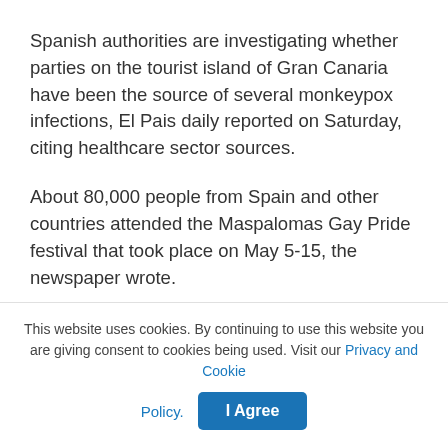Spanish authorities are investigating whether parties on the tourist island of Gran Canaria have been the source of several monkeypox infections, El Pais daily reported on Saturday, citing healthcare sector sources.
About 80,000 people from Spain and other countries attended the Maspalomas Gay Pride festival that took place on May 5-15, the newspaper wrote.
Men from Madrid, Italy and the neighbouring island of Tenerife who have tested positive for the virus are said to have participated in the festival celebrations.
Early genomic sequencing of a handful of the cases in
This website uses cookies. By continuing to use this website you are giving consent to cookies being used. Visit our Privacy and Cookie Policy.